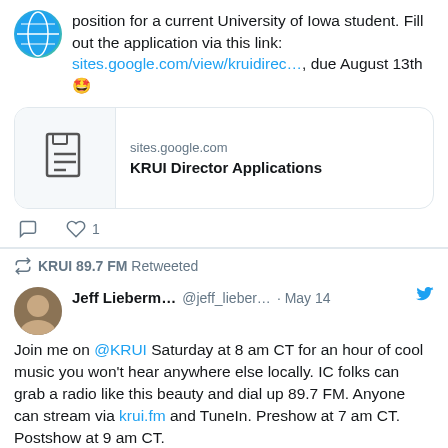position for a current University of Iowa student. Fill out the application via this link: sites.google.com/view/kruidirec…, due August 13th 🤩
[Figure (screenshot): Link preview card showing sites.google.com and KRUI Director Applications]
Actions: comment icon, heart icon with count 1
KRUI 89.7 FM Retweeted
Jeff Lieberm… @jeff_lieber… · May 14
Join me on @KRUI Saturday at 8 am CT for an hour of cool music you won't hear anywhere else locally. IC folks can grab a radio like this beauty and dial up 89.7 FM. Anyone can stream via krui.fm and TuneIn. Preshow at 7 am CT. Postshow at 9 am CT.
[Figure (photo): Partial image of a teal/turquoise radio or object at bottom of page]